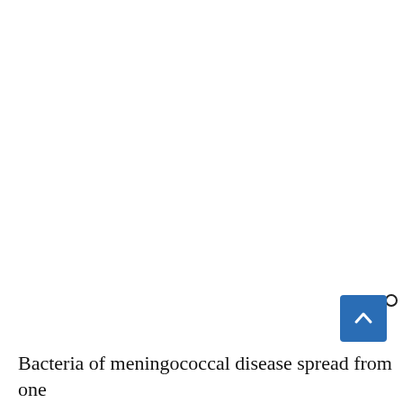•
[Figure (other): Blue scroll-to-top button with upward chevron arrow]
Bacteria of meningococcal disease spread from one